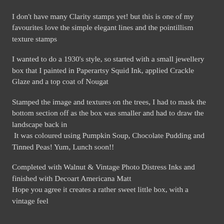I don't have many Clarity stamps yet! but this is one of my favourites love the simple elegant lines and the pointillism texture stamps
I wanted to do a 1930's style, so started with a small jewellery box that I painted in Paperartsy Squid Ink, applied Crackle Glaze and a top coat of Nougat
Stamped the image and textures on the trees, I had to mask the bottom section off as the box was smaller and had to draw the landscape back in
 It was coloured using Pumpkin Soup, Chocolate Pudding and Tinned Peas! Yum, Lunch soon!!
Completed with Walnut & Vintage Photo Distress Inks and finished with Decoart Americana Matt
Hope you agree it creates a rather sweet little box, with a vintage feel